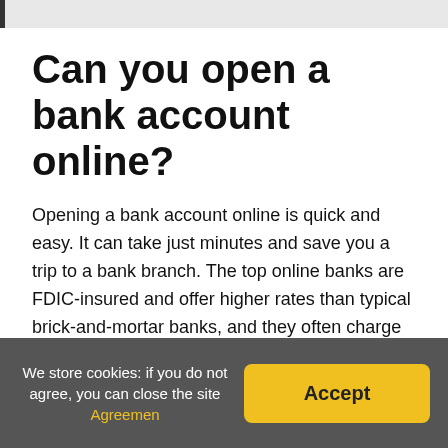Can you open a bank account online?
Opening a bank account online is quick and easy. It can take just minutes and save you a trip to a bank branch. The top online banks are FDIC-insured and offer higher rates than typical brick-and-mortar banks, and they often charge low or no fees.
How can I open a bank account without my parents
We store cookies: if you do not agree, you can close the site Agreemen